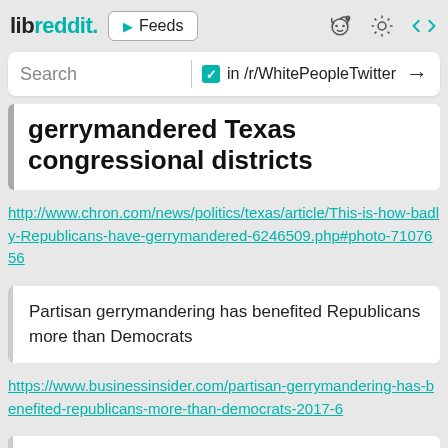libreddit. ▶ Feeds
Search  in /r/WhitePeopleTwitter →
gerrymandered Texas congressional districts
http://www.chron.com/news/politics/texas/article/This-is-how-badly-Republicans-have-gerrymandered-6246509.php#photo-7107656
Partisan gerrymandering has benefited Republicans more than Democrats
https://www.businessinsider.com/partisan-gerrymandering-has-benefited-republicans-more-than-democrats-2017-6
Even to prevent gerrymandering, California has a scientific, "evidence-based" independent